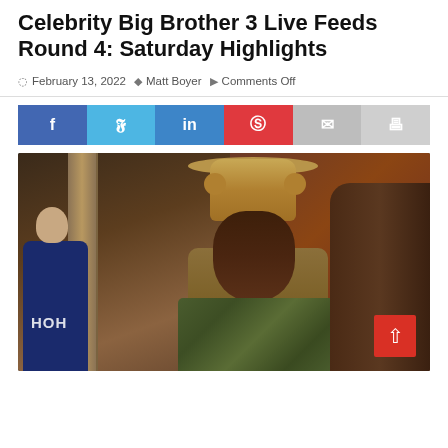Celebrity Big Brother 3 Live Feeds Round 4: Saturday Highlights
February 13, 2022  Matt Boyer  Comments Off
[Figure (infographic): Social sharing buttons: Facebook, Twitter, LinkedIn, Pinterest, Email, Print]
[Figure (photo): Celebrity Big Brother 3 live feed screenshot showing a woman wearing a tan cowboy hat with braids and a camouflage jacket, facing another person. In the background, another person in a blue HOH shirt is visible.]